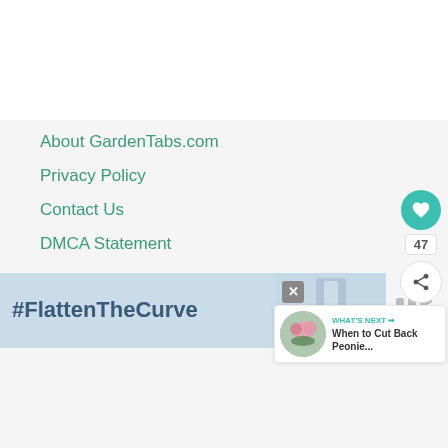About GardenTabs.com
Privacy Policy
Contact Us
DMCA Statement
We are a participant in the Amazon Services LLC Associates Program, and may earn fees by linking to Amazon.
[Figure (screenshot): Social share sidebar with heart button showing 47 likes and a share button]
[Figure (screenshot): What's Next widget showing 'When to Cut Back Peonie...' with a flower image]
[Figure (screenshot): Advertisement banner at bottom showing #FlattenTheCurve with handwashing image]